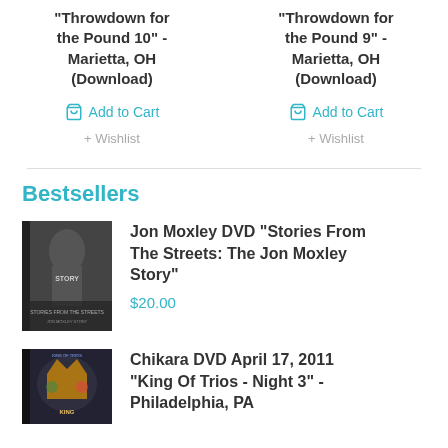"Throwdown for the Pound 10" - Marietta, OH (Download)
Add to Cart
+ Wishlist
"Throwdown for the Pound 9" - Marietta, OH (Download)
Add to Cart
+ Wishlist
Bestsellers
[Figure (photo): DVD cover for Jon Moxley DVD Stories From The Streets]
Jon Moxley DVD "Stories From The Streets: The Jon Moxley Story"
$20.00
[Figure (photo): DVD cover for Chikara King Of Trios Night 3]
Chikara DVD April 17, 2011 "King Of Trios - Night 3" - Philadelphia, PA